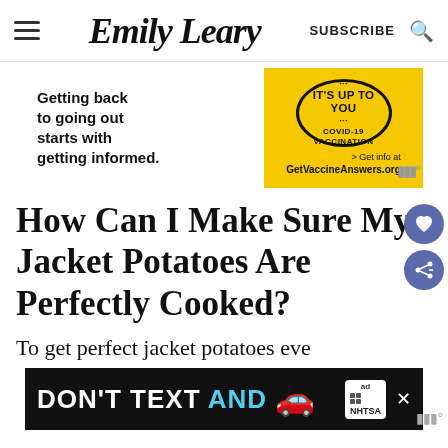Emily Leary — SUBSCRIBE (search icon)
[Figure (infographic): Advertisement banner: 'Getting back to going out starts with getting informed.' with COVID-19 vaccination IT'S UP TO YOU stamp on yellow background, GetVaccineAnswers.org]
How Can I Make Sure My Jacket Potatoes Are Perfectly Cooked?
To get perfect jacket potatoes eve...
[Figure (infographic): Advertisement banner: DON'T TEXT AND [car emoji] with NHTSA logo and ad badge, close button]